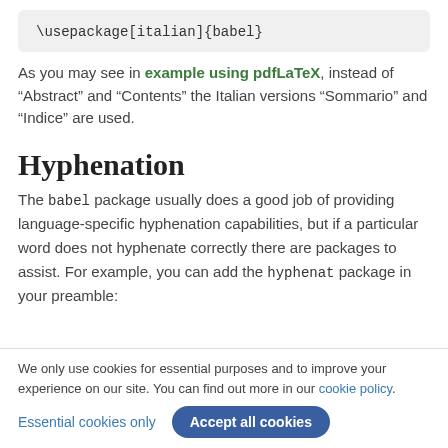As you may see in example using pdfLaTeX, instead of “Abstract” and “Contents” the Italian versions “Sommario” and “Indice” are used.
Hyphenation
The babel package usually does a good job of providing language-specific hyphenation capabilities, but if a particular word does not hyphenate correctly there are packages to assist. For example, you can add the hyphenat package in your preamble:
We only use cookies for essential purposes and to improve your experience on our site. You can find out more in our cookie policy.